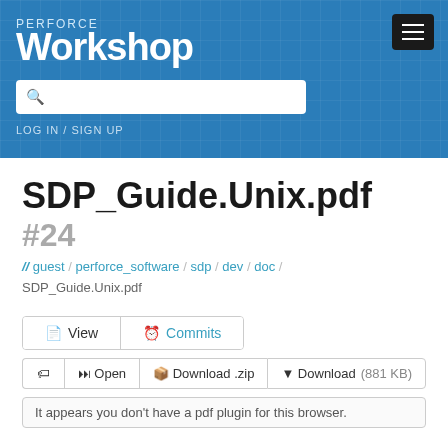[Figure (screenshot): Perforce Workshop header with blue background, workshop logo top-left, hamburger menu top-right, search bar, and LOG IN / SIGN UP link]
SDP_Guide.Unix.pdf
#24
// guest / perforce_software / sdp / dev / doc / SDP_Guide.Unix.pdf
View   Commits
Open   Download .zip   Download (881 KB)
It appears you don't have a pdf plugin for this browser.